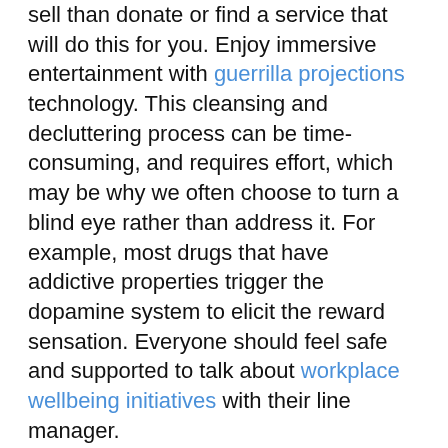sell than donate or find a service that will do this for you. Enjoy immersive entertainment with guerrilla projections technology. This cleansing and decluttering process can be time-consuming, and requires effort, which may be why we often choose to turn a blind eye rather than address it. For example, most drugs that have addictive properties trigger the dopamine system to elicit the reward sensation. Everyone should feel safe and supported to talk about workplace wellbeing initiatives with their line manager.
The downside of dopamine is that the continuous artificial stimulation that occurs in drug addiction leads to desensitization, which ultimately requires increasingly larger doses to achieve the same effect. Opioids, including heroin and fentanyl, for example, act as a continuous artificial stimulant, which explains why the addict constantly seeks stronger drugs and is at risk for overdosing. Working at a standing desk may offer health